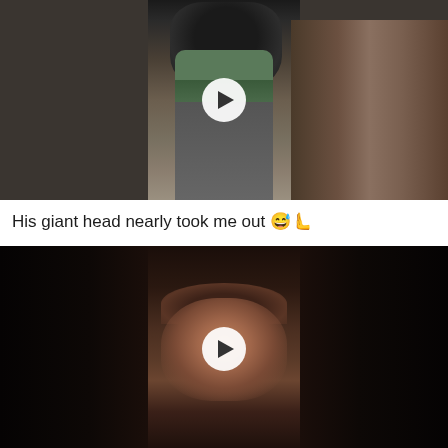[Figure (screenshot): Video thumbnail showing a woman with a large dark horse at a stable stall, three-panel style with play button overlay]
His giant head nearly took me out 😅🫷
[Figure (screenshot): Video thumbnail showing a man with beard in a dark room, three-panel style with play button overlay]